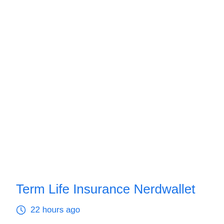Term Life Insurance Nerdwallet
22 hours ago